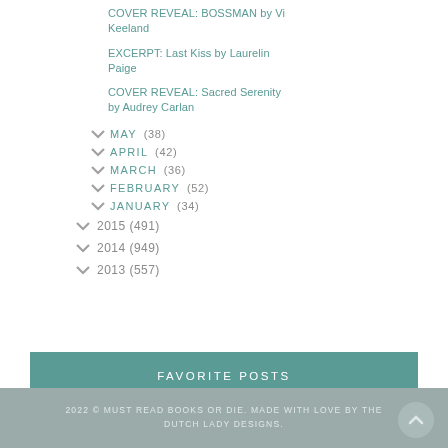COVER REVEAL: BOSSMAN by Vi Keeland
EXCERPT: Last Kiss by Laurelin Paige
COVER REVEAL: Sacred Serenity by Audrey Carlan
MAY (38)
APRIL (42)
MARCH (36)
FEBRUARY (52)
JANUARY (34)
2015 (491)
2014 (949)
2013 (557)
FAVORITE POSTS
2022 © MUST READ BOOKS OR DIE. MADE WITH LOVE BY THE DUTCH LADY DESIGNS.